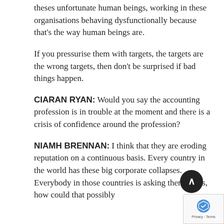theses unfortunate human beings, working in these organisations behaving dysfunctionally because that's the way human beings are.
If you pressurise them with targets, the targets are the wrong targets, then don't be surprised if bad things happen.
CIARAN RYAN: Would you say the accounting profession is in trouble at the moment and there is a crisis of confidence around the profession?
NIAMH BRENNAN: I think that they are eroding reputation on a continuous basis. Every country in the world has these big corporate collapses. Everybody in those countries is asking themselves, how could that possibly